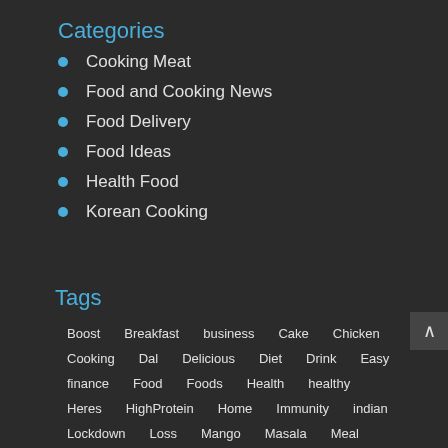Categories
Cooking Meat
Food and Cooking News
Food Delivery
Food Ideas
Health Food
Korean Cooking
Tags
Boost  Breakfast  business  Cake  Chicken  Cooking  Dal  Delicious  Diet  Drink  Easy  finance  Food  Foods  Health  healthy  Heres  HighProtein  Home  Immunity  indian  Lockdown  Loss  Mango  Masala  Meal  Paneer  pizza